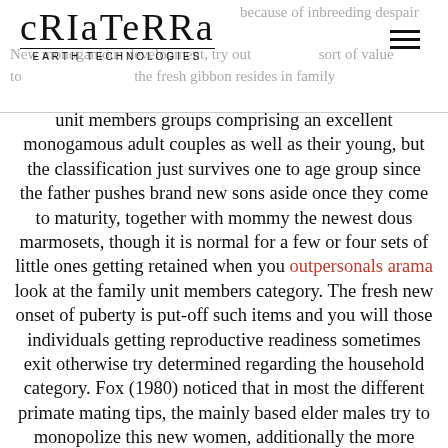[Figure (logo): CriaTerra Earth Technologies logo with stylized lettering]
because of inbreeding despair New monogamous development, try out sort of value to EARTH TECHNOLOGIES the fresh gibbon resides in family unit members groups comprising an excellent monogamous adult couples as well as their young, but the classification just survives one to age group since the father pushes brand new sons aside once they come to maturity, together with mommy the newest dous marmosets, though it is normal for a few or four sets of little ones getting retained when you outpersonals arama look at the family unit members category. The fresh new onset of puberty is put-off such items and you will those individuals getting reproductive readiness sometimes exit otherwise try determined regarding the household category. Fox (1980) noticed that in most the different primate mating tips, the mainly based elder males try to monopolize this new women, additionally the more youthful otherwise